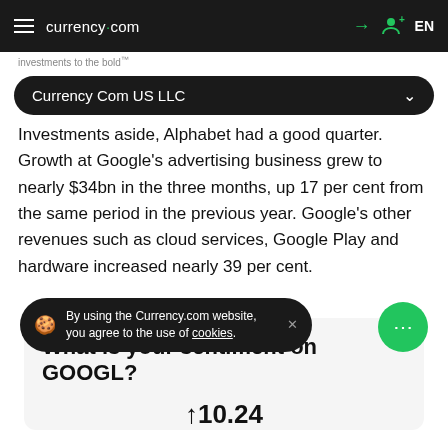currency.com  EN
investments to the bold
Currency Com US LLC
Investments aside, Alphabet had a good quarter. Growth at Google's advertising business grew to nearly $34bn in the three months, up 17 per cent from the same period in the previous year. Google's other revenues such as cloud services, Google Play and hardware increased nearly 39 per cent.
What is your sentiment on GOOGL?
By using the Currency.com website, you agree to the use of cookies.
110.24